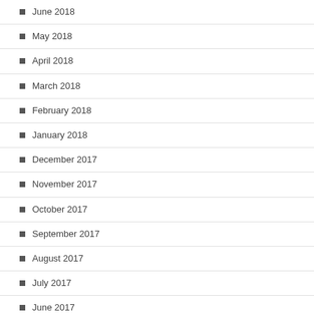June 2018
May 2018
April 2018
March 2018
February 2018
January 2018
December 2017
November 2017
October 2017
September 2017
August 2017
July 2017
June 2017
May 2017
April 2017